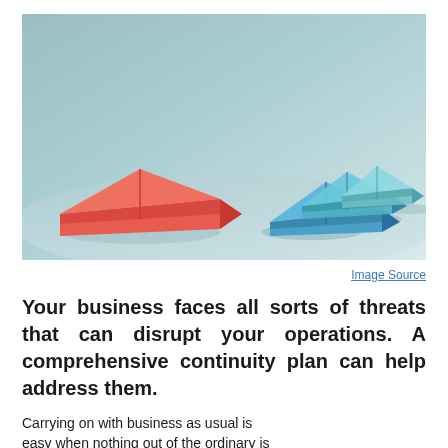[Figure (photo): A large red paper boat leading several smaller blue and teal paper boats on a light grey-blue surface, photographed from a low angle.]
Image Source
Your business faces all sorts of threats that can disrupt your operations. A comprehensive continuity plan can help address them.
Carrying on with business as usual is easy when nothing out of the ordinary is